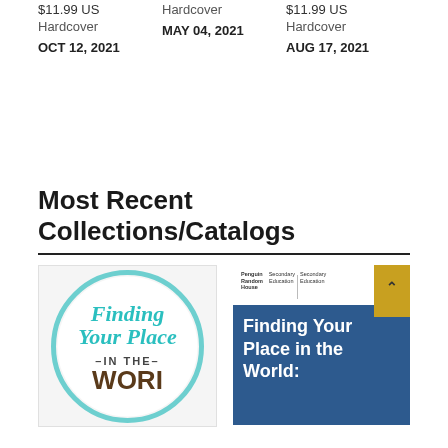$11.99 US
Hardcover
OCT 12, 2021
Hardcover
MAY 04, 2021
$11.99 US
Hardcover
AUG 17, 2021
Most Recent Collections/Catalogs
[Figure (illustration): Book cover showing 'Finding Your Place in the World' with teal circle logo]
[Figure (illustration): Penguin Random House Secondary Education catalog cover for 'Finding Your Place in the World:' with blue background and yellow bookmark]